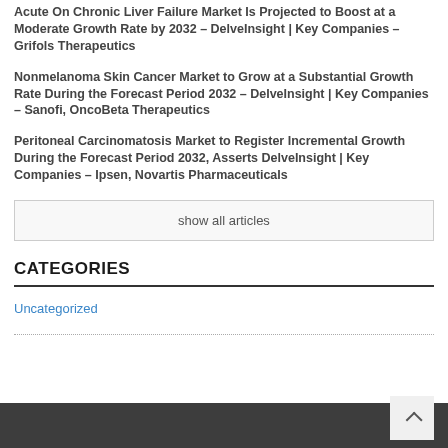Acute On Chronic Liver Failure Market Is Projected to Boost at a Moderate Growth Rate by 2032 – DelveInsight | Key Companies – Grifols Therapeutics
Nonmelanoma Skin Cancer Market to Grow at a Substantial Growth Rate During the Forecast Period 2032 – DelveInsight | Key Companies – Sanofi, OncoBeta Therapeutics
Peritoneal Carcinomatosis Market to Register Incremental Growth During the Forecast Period 2032, Asserts DelveInsight | Key Companies – Ipsen, Novartis Pharmaceuticals
show all articles
CATEGORIES
Uncategorized